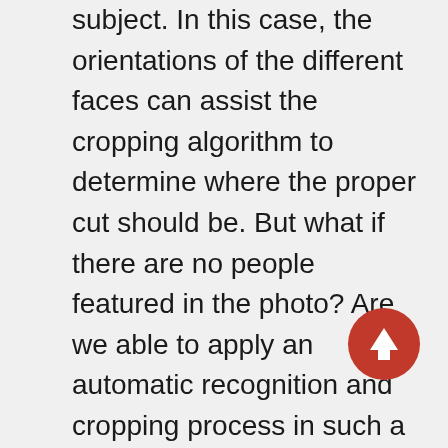subject. In this case, the orientations of the different faces can assist the cropping algorithm to determine where the proper cut should be. But what if there are no people featured in the photo? Are we able to apply an automatic recognition and cropping process in such a situation?
[Figure (other): Red circular scroll-to-top button with a white upward arrow icon]